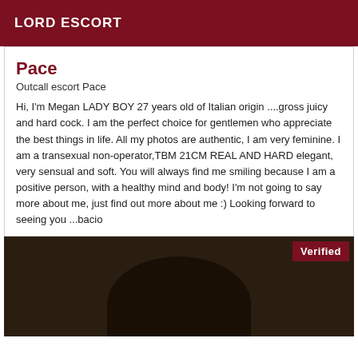LORD ESCORT
Pace
Outcall escort Pace
Hi, I'm Megan LADY BOY 27 years old of Italian origin ....gross juicy and hard cock. I am the perfect choice for gentlemen who appreciate the best things in life. All my photos are authentic, I am very feminine. I am a transexual non-operator,TBM 21CM REAL AND HARD elegant, very sensual and soft. You will always find me smiling because I am a positive person, with a healthy mind and body! I'm not going to say more about me, just find out more about me :) Looking forward to seeing you ...bacio
[Figure (photo): Dark photo with verified badge in top-right corner showing a silhouette shape against a dark background]